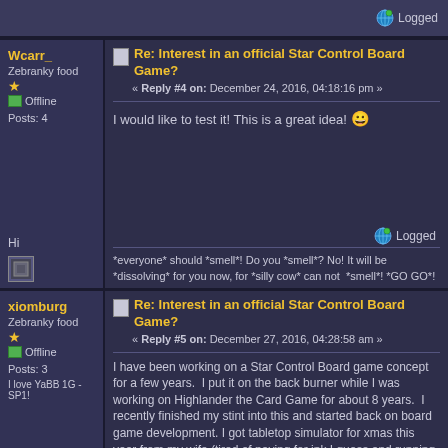Logged
Wcarr_
Zebranky food
Offline
Posts: 4
Re: Interest in an official Star Control Board Game?
« Reply #4 on: December 24, 2016, 04:18:16 pm »
I would like to test it! This is a great idea! 😁
Hi
Logged
*everyone* should *smell*! Do you *smell*? No! It will be *dissolving* for you now, for *silly cow* can not *smell*! *GO GO*!
xiomburg
Zebranky food
Offline
Posts: 3
I love YaBB 1G - SP1!
Re: Interest in an official Star Control Board Game?
« Reply #5 on: December 27, 2016, 04:28:58 am »
I have been working on a Star Control Board game concept for a few years.  I put it on the back burner while I was working on Highlander the Card Game for about 8 years.  I recently finished my stint into this and started back on board game development. I got tabletop simulator for xmas this year from my wife (tired of paying for ink I guess and running down to kinkos to print).